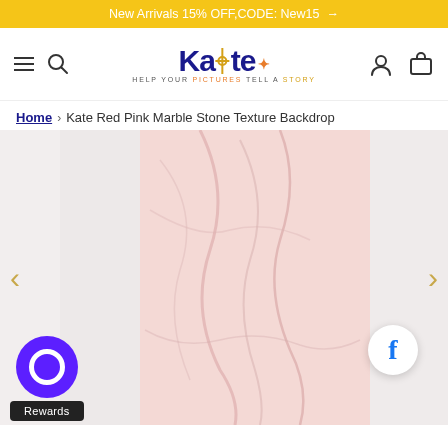New Arrivals 15% OFF,CODE: New15 →
[Figure (logo): Kate Backdrop logo with tagline 'HELP YOUR PICTURES TELL A STORY']
Home › Kate Red Pink Marble Stone Texture Backdrop
[Figure (photo): Pink marble stone texture backdrop product image shown centered on a light gray background with left and right navigation arrows, a Facebook share button on the right, and a Rewards button on the lower left]